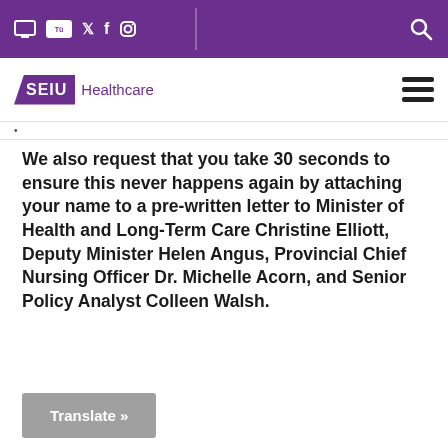SEIU Healthcare - social media and navigation header
We also request that you take 30 seconds to ensure this never happens again by attaching your name to a pre-written letter to Minister of Health and Long-Term Care Christine Elliott, Deputy Minister Helen Angus, Provincial Chief Nursing Officer Dr. Michelle Acorn, and Senior Policy Analyst Colleen Walsh.
Translate »